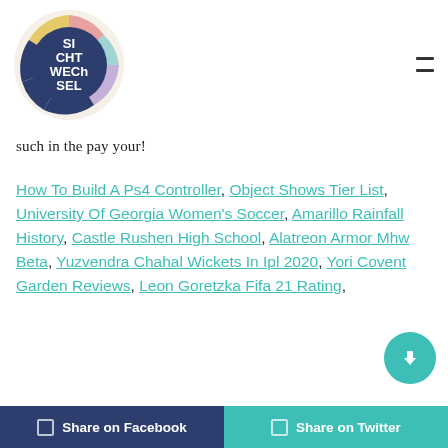[Figure (logo): Sichtwechsel circular logo with colorful segments and white text reading SI CHT WECH SEL on dark navy background]
such in the pay your!
How To Build A Ps4 Controller, Object Shows Tier List, University Of Georgia Women's Soccer, Amarillo Rainfall History, Castle Rushen High School, Alatreon Armor Mhw Beta, Yuzvendra Chahal Wickets In Ipl 2020, Yori Covent Garden Reviews, Leon Goretzka Fifa 21 Rating,
Share on Facebook
Share on Twitter